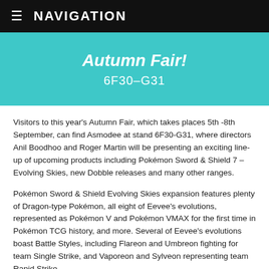≡  NAVIGATION
Autumn Fair!
6F30-G31
Visitors to this year's Autumn Fair, which takes places 5th -8th September, can find Asmodee at stand 6F30-G31, where directors Anil Boodhoo and Roger Martin will be presenting an exciting line-up of upcoming products including Pokémon Sword & Shield 7 – Evolving Skies, new Dobble releases and many other ranges.
Pokémon Sword & Shield Evolving Skies expansion features plenty of Dragon-type Pokémon, all eight of Eevee's evolutions, represented as Pokémon V and Pokémon VMAX for the first time in Pokémon TCG history, and more. Several of Eevee's evolutions boast Battle Styles, including Flareon and Umbreon fighting for team Single Strike, and Vaporeon and Sylveon representing team Rapid Strike.
Asmodee will also be showcasing its latest football club variants of